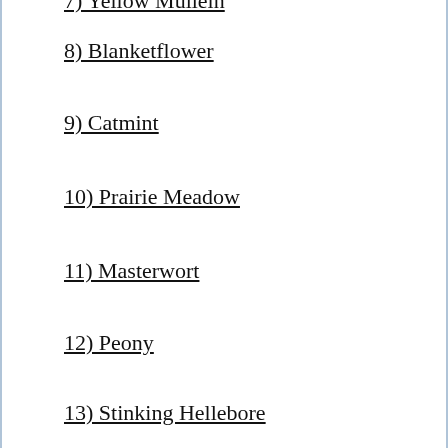7) Yellow Mullein
8) Blanketflower
9) Catmint
10) Prairie Meadow
11) Masterwort
12) Peony
13) Stinking Hellebore
14) Ruthenian Globe Thistle
15) Lungwort
16) Rose Campion
17) Gooseneck Loosestrife
18) Strawberry
19) Goat's Beard
20) Miss Willmott's Ghost